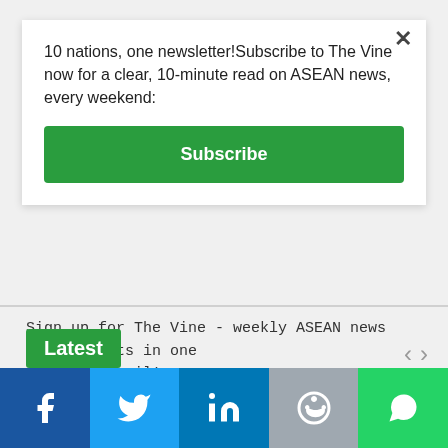10 nations, one newsletter!Subscribe to The Vine now for a clear, 10-minute read on ASEAN news, every weekend:
Subscribe
Sign up for The Vine - weekly ASEAN news and insights in one friendly email!
[Figure (infographic): Social media icons: Facebook, Instagram, RSS, Twitter in light gray]
Privacy Policy
Latest
[Figure (infographic): Navigation arrows left and right]
[Figure (infographic): Bottom share bar with Facebook, Twitter, LinkedIn, Reddit, WhatsApp buttons]